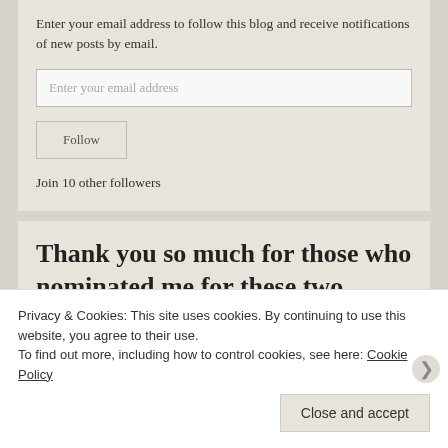Enter your email address to follow this blog and receive notifications of new posts by email.
Enter your email address
Follow
Join 10 other followers
Thank you so much for those who nominated me for these two awards. I'm touched and
Privacy & Cookies: This site uses cookies. By continuing to use this website, you agree to their use.
To find out more, including how to control cookies, see here: Cookie Policy
Close and accept